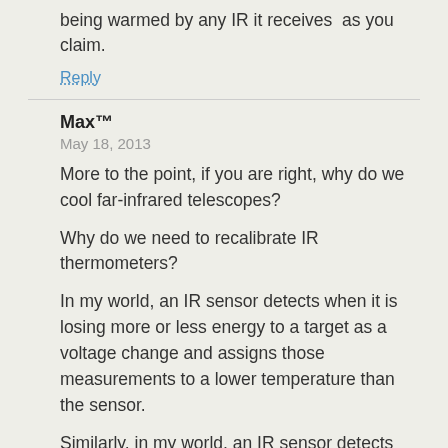being warmed by any IR it receives  as you claim.
Reply
Max™
May 18, 2013
More to the point, if you are right, why do we cool far-infrared telescopes?
Why do we need to recalibrate IR thermometers?
In my world, an IR sensor detects when it is losing more or less energy to a target as a voltage change and assigns those measurements to a lower temperature than the sensor.
Similarly, in my world, an IR sensor detects when it is gaining more or less energy from a target as a voltage change and assigns those measurements to a higher temperature than the sensor.